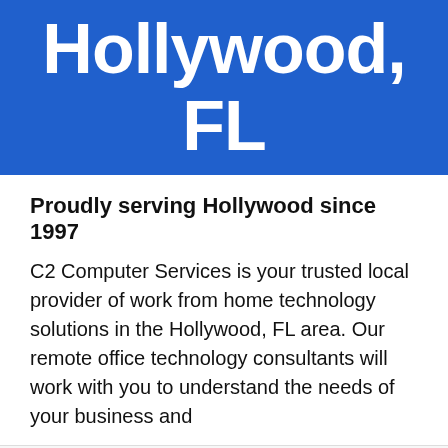Hollywood, FL
Proudly serving Hollywood since 1997
C2 Computer Services is your trusted local provider of work from home technology solutions in the Hollywood, FL area. Our remote office technology consultants will work with you to understand the needs of your business and
We use cookies on our website to give you the most relevant experience by remembering your preferences and repeat visits. By clicking “Accept”, you consent to the use of ALL the cookies.
Cookie Settings | Accept